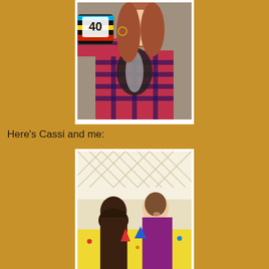[Figure (photo): A woman in a red and black plaid shirt holding up a mug with '40' on it, wearing hoop earrings and a black and white scarf.]
Here's Cassi and me:
[Figure (photo): Two women sitting at a table with a colorful tablecloth, with origami or paper decorations on the table, in front of a lattice background.]